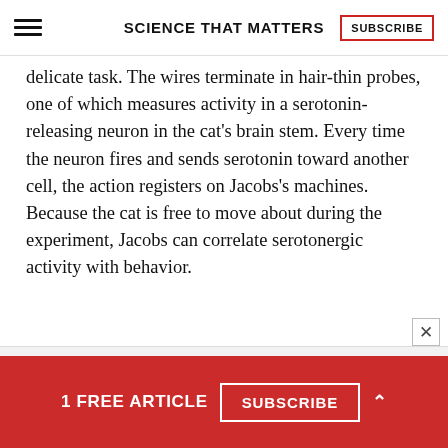SCIENCE THAT MATTERS
delicate task. The wires terminate in hair-thin probes, one of which measures activity in a serotonin-releasing neuron in the cat's brain stem. Every time the neuron fires and sends serotonin toward another cell, the action registers on Jacobs's machines. Because the cat is free to move about during the experiment, Jacobs can correlate serotonergic activity with behavior.
1 FREE ARTICLE  SUBSCRIBE